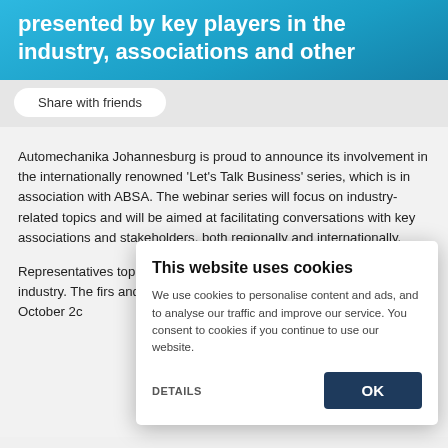presented by key players in the industry, associations and other
Share with friends
Automechanika Johannesburg is proud to announce its involvement in the internationally renowned 'Let's Talk Business' series, which is in association with ABSA. The webinar series will focus on industry-related topics and will be aimed at facilitating conversations with key associations and stakeholders, both regionally and internationally.
Representatives topics and will a industry. The firs and Mitigating Ri on 6 October 2c
This website uses cookies
We use cookies to personalise content and ads, and to analyse our traffic and improve our service. You consent to cookies if you continue to use our website.
DETAILS
OK